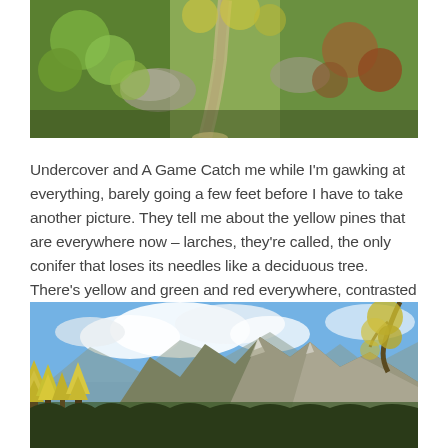[Figure (photo): A mountain hiking trail viewed from above, surrounded by yellow-green autumn foliage, rocks, and shrubs with a narrow dirt path winding through.]
Undercover and A Game Catch me while I'm gawking at everything, barely going a few feet before I have to take another picture. They tell me about the yellow pines that are everywhere now – larches, they're called, the only conifer that loses its needles like a deciduous tree. There's yellow and green and red everywhere, contrasted by the sky's startling blue.
[Figure (photo): A panoramic mountain landscape with yellow larch trees in the foreground, dramatic rocky peaks in the background, and a bright blue sky with white clouds.]